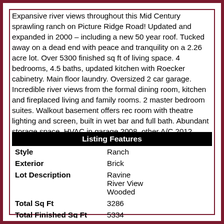Expansive river views throughout this Mid Century sprawling ranch on Picture Ridge Road! Updated and expanded in 2000 – including a new 50 year roof. Tucked away on a dead end with peace and tranquility on a 2.26 acre lot. Over 5300 finished sq ft of living space. 4 bedrooms, 4.5 baths, updated kitchen with Roecker cabinetry. Main floor laundry. Oversized 2 car garage. Incredible river views from the formal dining room, kitchen and fireplaced living and family rooms. 2 master bedroom suites. Walkout basement offers rec room with theatre lighting and screen, built in wet bar and full bath. Abundant storage space. HVAC in garage 2008, other A/C 2012, Water Heater 2019.
| Listing Features |  |
| --- | --- |
| Style | Ranch |
| Exterior | Brick |
| Lot Description | Ravine
River View
Wooded |
| Total Sq Ft | 3286 |
| Total Finished Sq Ft | 5334 |